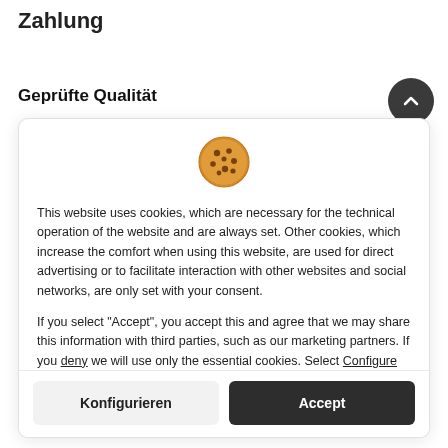Zahlung
Geprüfte Qualität
[Figure (illustration): Cookie emoji icon — a round brown cookie with chocolate chip spots]
This website uses cookies, which are necessary for the technical operation of the website and are always set. Other cookies, which increase the comfort when using this website, are used for direct advertising or to facilitate interaction with other websites and social networks, are only set with your consent.

If you select "Accept", you accept this and agree that we may share this information with third parties, such as our marketing partners. If you deny we will use only the essential cookies. Select Configure for further details and to manage your options. You can adjust your preferences at any time. For more information, please read our privacy notice.
Konfigurieren
Accept